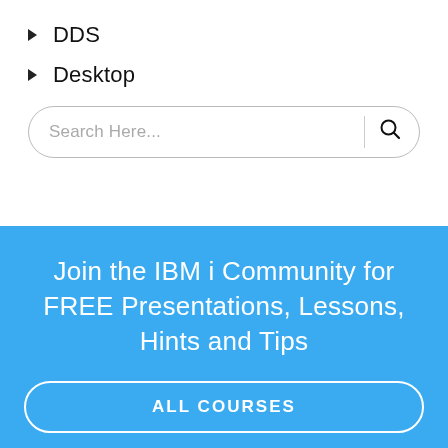DDS
Desktop
[Figure (screenshot): Search bar with placeholder text 'Search Here...' and a search icon, rounded border]
Join the IBM i Community for FREE Presentations, Lessons, Hints and Tips
ALL COURSES